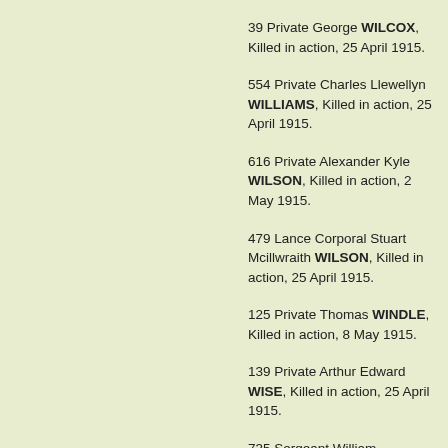39 Private George WILCOX, Killed in action, 25 April 1915.
554 Private Charles Llewellyn WILLIAMS, Killed in action, 25 April 1915.
616 Private Alexander Kyle WILSON, Killed in action, 2 May 1915.
479 Lance Corporal Stuart Mcillwraith WILSON, Killed in action, 25 April 1915.
125 Private Thomas WINDLE, Killed in action, 8 May 1915.
139 Private Arthur Edward WISE, Killed in action, 25 April 1915.
735 Sergeant William Augustus WOODHOUSE, Killed in action, 20 May 1915.
1848 Corporal Joseph WOODSBEY, Killed in action, 28 June 1915.